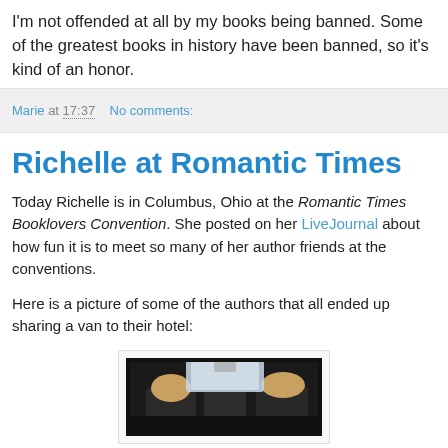I'm not offended at all by my books being banned. Some of the greatest books in history have been banned, so it's kind of an honor.
Marie at 17:37    No comments:
Richelle at Romantic Times
Today Richelle is in Columbus, Ohio at the Romantic Times Booklovers Convention. She posted on her LiveJournal about how fun it is to meet so many of her author friends at the conventions.
Here is a picture of some of the authors that all ended up sharing a van to their hotel:
[Figure (photo): Interior view of a van from the back seat, showing silhouettes of passengers and front windshield with light coming through]